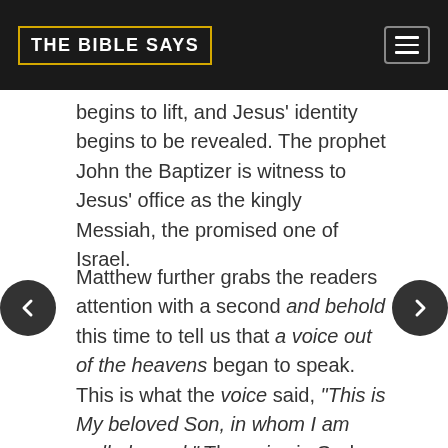THE BIBLE SAYS
begins to lift, and Jesus' identity begins to be revealed. The prophet John the Baptizer is witness to Jesus' office as the kingly Messiah, the promised one of Israel.
Matthew further grabs the readers attention with a second and behold this time to tell us that a voice out of the heavens began to speak. This is what the voice said, “This is My beloved Son, in whom I am well pleased.” The voice is God the Father. The Bible does not make it clear who exactly heard the voice, whether it was everyone or only Jesus and John. Mark and Luke’s accounts say